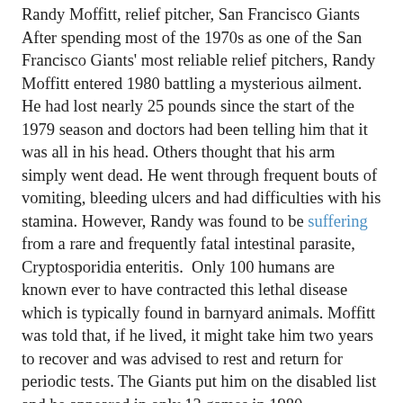Randy Moffitt, relief pitcher, San Francisco Giants
After spending most of the 1970s as one of the San Francisco Giants' most reliable relief pitchers, Randy Moffitt entered 1980 battling a mysterious ailment. He had lost nearly 25 pounds since the start of the 1979 season and doctors had been telling him that it was all in his head. Others thought that his arm simply went dead. He went through frequent bouts of vomiting, bleeding ulcers and had difficulties with his stamina. However, Randy was found to be suffering from a rare and frequently fatal intestinal parasite, Cryptosporidia enteritis.  Only 100 humans are known ever to have contracted this lethal disease which is typically found in barnyard animals. Moffitt was told that, if he lived, it might take him two years to recover and was advised to rest and return for periodic tests. The Giants put him on the disabled list and he appeared in only 13 games in 1980.
Randy Moffitt came from an athletic family as his older sister was tennis star Billie Jean King. He was a prep star in Long Beach, California, winning the Connie Mack World Series. Randy was a two-time all league choice in three seasons at Long Beach State University where he set